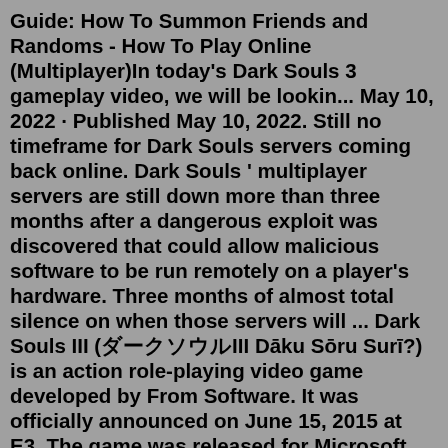Guide: How To Summon Friends and Randoms - How To Play Online (Multiplayer)In today's Dark Souls 3 gameplay video, we will be lookin... May 10, 2022 · Published May 10, 2022. Still no timeframe for Dark Souls servers coming back online. Dark Souls ' multiplayer servers are still down more than three months after a dangerous exploit was discovered that could allow malicious software to be run remotely on a player's hardware. Three months of almost total silence on when those servers will ... Dark Souls III (ダークソウルIII Dāku Sōru Surī?) is an action role-playing video game developed by From Software. It was officially announced on June 15, 2015 at E3. The game was released for Microsoft Windows, PlayStation 4 and Xbox One on March 24, 2016 in Japan, with a worldwide release scheduled for April 12 of the same year. A code was given to users who pre-ordered the game to ... Dark Souls 3 - Open Server. Contribute to TLeonardUK/ds3os development by creating an account on GitHub. README.md. What is this project? An open source ...